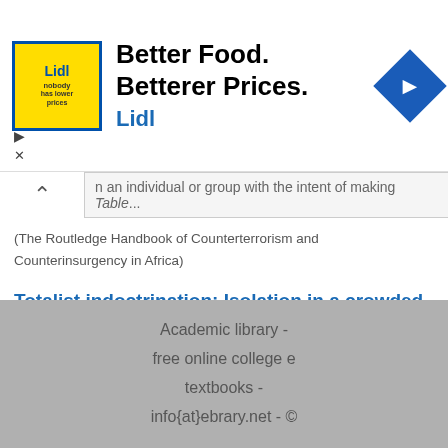[Figure (screenshot): Lidl advertisement banner: yellow square logo with Lidl branding, text 'Better Food. Betterer Prices. Lidl', blue diamond navigation icon, ad controls (play and close)]
n an individual or group with the intent of making Table...
(The Routledge Handbook of Counterterrorism and Counterinsurgency in Africa)
Totalist indoctrination: Isolation in a crowded place
It has frequently been said, and it is perfectly true, that the most horrible aspect of [totalitarian] terror is that it has the power to bind together completely isolated individuals and that by so doing it isolates these individuals even more. Only isolated individuals can be dominated totally. Hannah...
(Terror, Love and Brainwashing: Attachment in Cults and Totalitarian Systems)
Academic library - free online college e textbooks - info{at}ebrary.net - ©